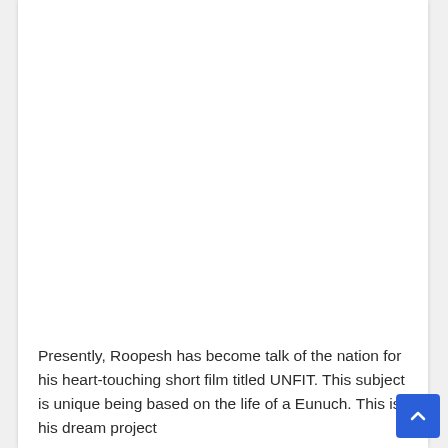Presently, Roopesh has become talk of the nation for his heart-touching short film titled UNFIT. This subject is unique being based on the life of a Eunuch. This is his dream project